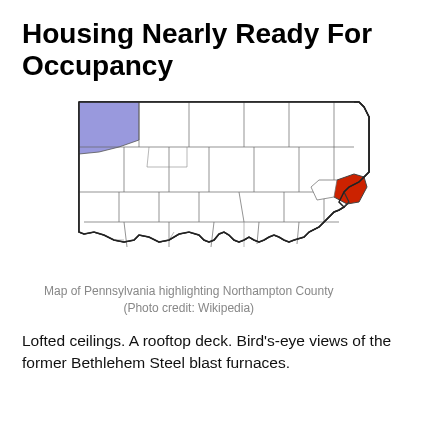Housing Nearly Ready For Occupancy
[Figure (map): Map of Pennsylvania with county borders shown. Most counties are white/unshaded. A small area in the upper-left corner is shaded light blue/lavender. One county in the eastern part of the state (Northampton County) is highlighted in red.]
Map of Pennsylvania highlighting Northampton County (Photo credit: Wikipedia)
Lofted ceilings. A rooftop deck. Bird’s-eye views of the former Bethlehem Steel blast furnaces.